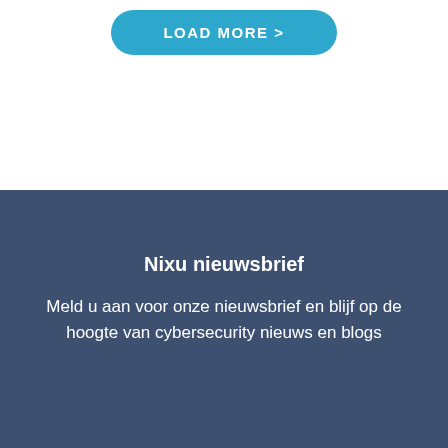[Figure (other): A teal/cyan rounded button with white uppercase text reading 'LOAD MORE >']
Nixu nieuwsbrief
Meld u aan voor onze nieuwsbrief en blijf op de hoogte van cybersecurity nieuws en blogs